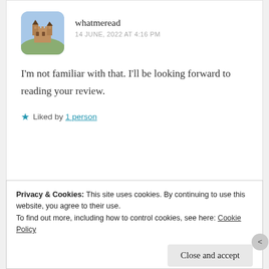[Figure (photo): Circular avatar image of a castle/chateau with blue sky, used as user profile photo for 'whatmeread']
whatmeread
14 JUNE, 2022 AT 4:16 PM
I'm not familiar with that. I'll be looking forward to reading your review.
Liked by 1 person
REPORT THIS AD
Privacy & Cookies: This site uses cookies. By continuing to use this website, you agree to their use.
To find out more, including how to control cookies, see here: Cookie Policy
Close and accept